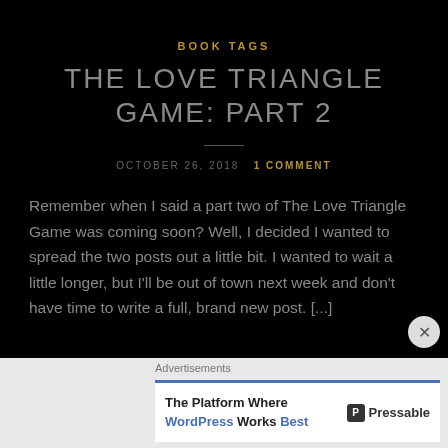BOOK TAGS
THE LOVE TRIANGLE GAME: PART 2
OCTOBER 26, 2018   1 COMMENT
Remember when I said a part two of The Love Triangle Game was coming soon? Well, I decided I wanted to spread the two posts out a little bit. I wanted to wait a little longer, but I'll be out of town next week and don't have time to write a full, brand new post. [...]
Advertisements
The Platform Where WordPress Works Best   Pressable